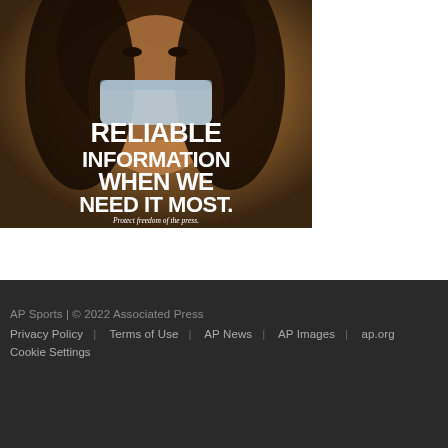[Figure (illustration): Advertisement image showing a woman with curly hair wearing a face mask, with bold white text reading 'RELIABLE INFORMATION WHEN WE NEED IT MOST.' and smaller text 'Protect freedom of the press. freespeech.center']
AP Sports | © 2022 Associated Press
Privacy Policy | Terms of Use | AP News | AP Images | ap.org
Cookie Settings